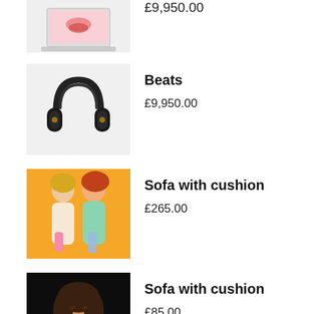[Figure (photo): Partial product image: laptop with image on screen, grey background]
£9,950.00
[Figure (photo): Beats headphones product image on grey background]
Beats
£9,950.00
[Figure (photo): Two fashion models posing on orange/yellow background]
Sofa with cushion
£265.00
[Figure (photo): Female portrait on dark/black background]
Sofa with cushion
£85.00